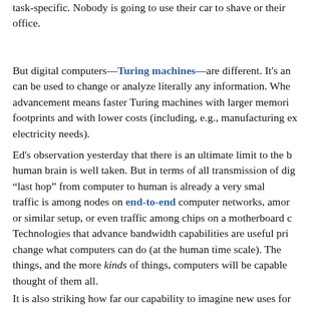task-specific. Nobody is going to use their car to shave or their office.
But digital computers—Turing machines—are different. It's an can be used to change or analyze literally any information. Whe advancement means faster Turing machines with larger memori footprints and with lower costs (including, e.g., manufacturing ex electricity needs).
Ed's observation yesterday that there is an ultimate limit to the b human brain is well taken. But in terms of all transmission of dig “last hop” from computer to human is already a very smal traffic is among nodes on end-to-end computer networks, amor or similar setup, or even traffic among chips on a motherboard c Technologies that advance bandwidth capabilities are useful pri change what computers can do (at the human time scale). The things, and the more kinds of things, computers will be capable thought of them all.
It is also striking how far our capability to imagine new uses for